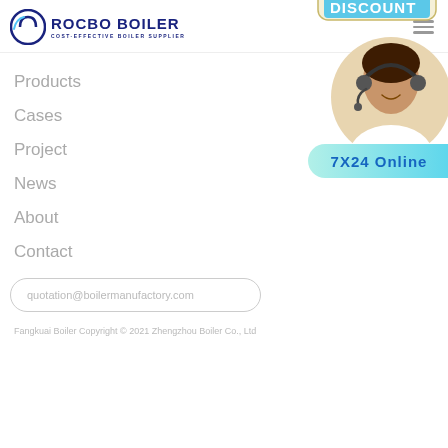ROCBO BOILER — COST-EFFECTIVE BOILER SUPPLIER
Products
Cases
Project
News
About
Contact
quotation@boilermanufactory.com
[Figure (illustration): 10% DISCOUNT hanging sign with a customer service agent photo and 7X24 Online teal banner]
Fangkuai Boiler Copyright © 2021 Zhengzhou Boiler Co., Ltd